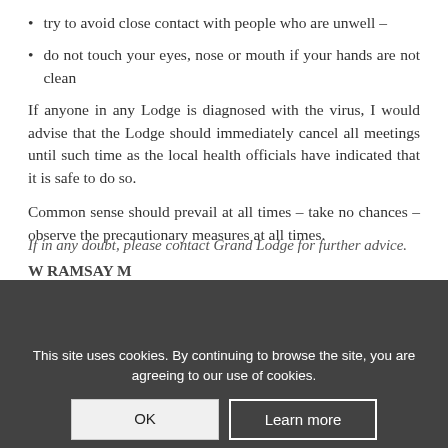try to avoid close contact with people who are unwell –
do not touch your eyes, nose or mouth if your hands are not clean
If anyone in any Lodge is diagnosed with the virus, I would advise that the Lodge should immediately cancel all meetings until such time as the local health officials have indicated that it is safe to do so.
Common sense should prevail at all times – take no chances – observe the precautionary measures at all times.
If in any doubt, please contact Grand Lodge for further advice.
W RAMSAY M
This site uses cookies. By continuing to browse the site, you are agreeing to our use of cookies.